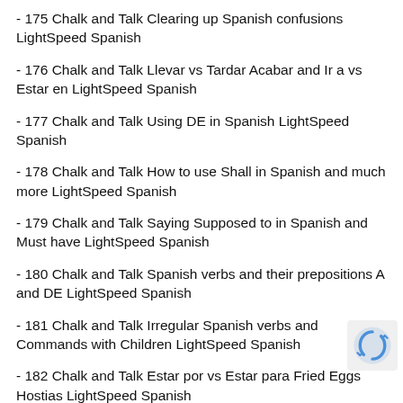- 175 Chalk and Talk Clearing up Spanish confusions LightSpeed Spanish
- 176 Chalk and Talk Llevar vs Tardar Acabar and Ir a vs Estar en LightSpeed Spanish
- 177 Chalk and Talk Using DE in Spanish LightSpeed Spanish
- 178 Chalk and Talk How to use Shall in Spanish and much more LightSpeed Spanish
- 179 Chalk and Talk Saying Supposed to in Spanish and Must have LightSpeed Spanish
- 180 Chalk and Talk Spanish verbs and their prepositions A and DE LightSpeed Spanish
- 181 Chalk and Talk Irregular Spanish verbs and Commands with Children LightSpeed Spanish
- 182 Chalk and Talk Estar por vs Estar para Fried Eggs Hostias LightSpeed Spanish
- 183 Chalk and Talk Alguien vs Nadie Alguno vs Ninguno